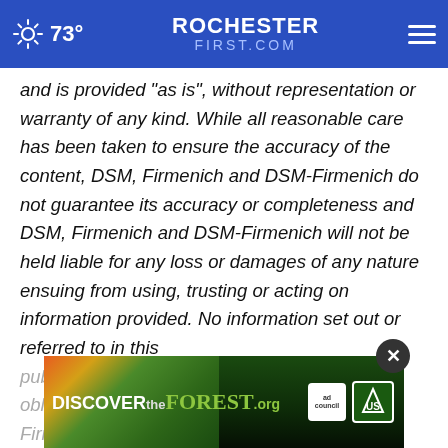73° ROCHESTERFIRST.COM
and is provided "as is", without representation or warranty of any kind. While all reasonable care has been taken to ensure the accuracy of the content, DSM, Firmenich and DSM-Firmenich do not guarantee its accuracy or completeness and DSM, Firmenich and DSM-Firmenich will not be held liable for any loss or damages of any nature ensuing from using, trusting or acting on information provided. No information set out or referred to in this public obligation and DSM, Firmenich and DSM-Firmenich
[Figure (photo): Discover the Forest advertisement banner with forest background, ad council and US Forest Service logos]